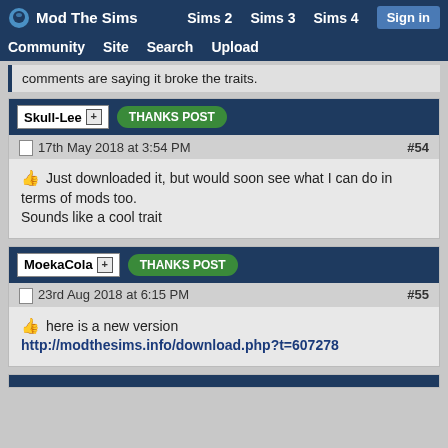Mod The Sims | Sims 2 | Sims 3 | Sims 4 | Sign in | Community | Site | Search | Upload
comments are saying it broke the traits.
Skull-Lee [+] THANKS POST
17th May 2018 at 3:54 PM #54
Just downloaded it, but would soon see what I can do in terms of mods too.
Sounds like a cool trait
MoekaCola [+] THANKS POST
23rd Aug 2018 at 6:15 PM #55
here is a new version
http://modthesims.info/download.php?t=607278